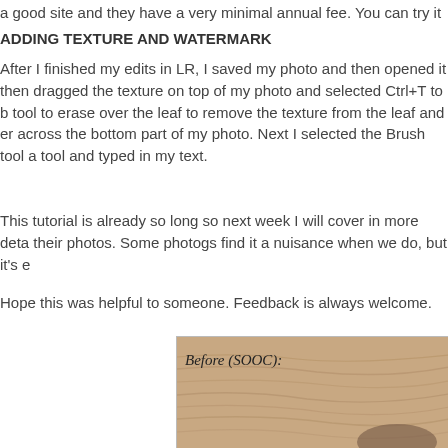a good site and they have a very minimal annual fee. You can try it o
ADDING TEXTURE AND WATERMARK
After I finished my edits in LR, I saved my photo and then opened it then dragged the texture on top of my photo and selected Ctrl+T to b tool to erase over the leaf to remove the texture from the leaf and er across the bottom part of my photo. Next I selected the Brush tool a tool and typed in my text.
This tutorial is already so long so next week I will cover in more deta their photos. Some photogs find it a nuisance when we do, but it's e
Hope this was helpful to someone. Feedback is always welcome.
[Figure (photo): Before (SOOC): photo showing wooden texture in warm brown tones, partially cropped]